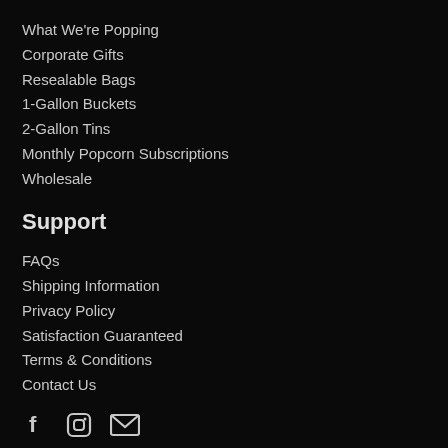What We're Popping
Corporate Gifts
Resealable Bags
1-Gallon Buckets
2-Gallon Tins
Monthly Popcorn Subscriptions
Wholesale
Support
FAQs
Shipping Information
Privacy Policy
Satisfaction Guaranteed
Terms & Conditions
Contact Us
[Figure (infographic): Social media icons: Facebook (f), Instagram (camera/square), Email (envelope)]
Sign up for our newsletter